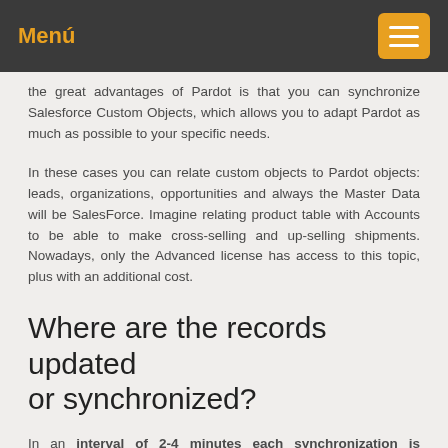Menú
the great advantages of Pardot is that you can synchronize Salesforce Custom Objects, which allows you to adapt Pardot as much as possible to your specific needs.
In these cases you can relate custom objects to Pardot objects: leads, organizations, opportunities and always the Master Data will be SalesForce. Imagine relating product table with Accounts to be able to make cross-selling and up-selling shipments. Nowadays, only the Advanced license has access to this topic, plus with an additional cost.
Where are the records updated or synchronized?
In an interval of 2-4 minutes each synchronization is performed. For this to take place there must be some triggers:
submitting a form
an email subscription or unsubscribe
an import